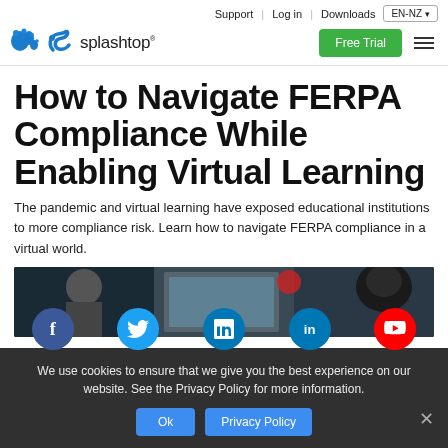Support | Log in | Downloads  EN-NZ
[Figure (logo): Splashtop logo with blue splash icon and text 'splashtop']
How to Navigate FERPA Compliance While Enabling Virtual Learning
The pandemic and virtual learning have exposed educational institutions to more compliance risk. Learn how to navigate FERPA compliance in a virtual world.
[Figure (photo): Article hero image showing a virtual classroom scene]
We use cookies to ensure that we give you the best experience on our website. See the Privacy Policy for more information.